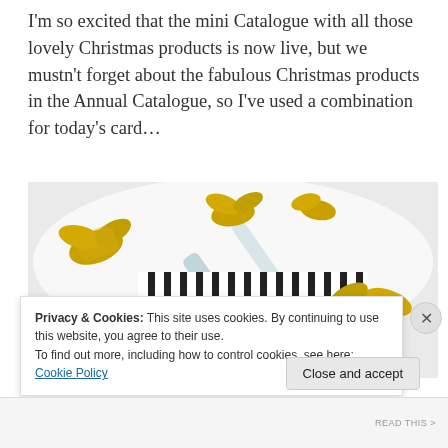I'm so excited that the mini Catalogue with all those lovely Christmas products is now live, but we mustn't forget about the fabulous Christmas products in the Annual Catalogue, so I've used a combination for today's card…
[Figure (photo): A Christmas card craft photo showing a white and black striped card/box decorated with gold glittery holly leaves and red berries, with a light blue ribbon draped across it, on a white background.]
Privacy & Cookies: This site uses cookies. By continuing to use this website, you agree to their use.
To find out more, including how to control cookies, see here: Cookie Policy
Close and accept